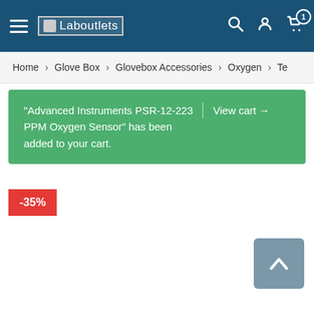Laboutlets — navigation header with hamburger menu, logo, search, account, and cart icons
Home > Glove Box > Glovebox Accessories > Oxygen > Te
“Advanced Instruments PSR-12-223 PPM Oxygen Sensor” has been added to your cart. | View cart →
-35%
[Figure (screenshot): Scroll-to-top button (chevron up arrow on blue-grey background)]